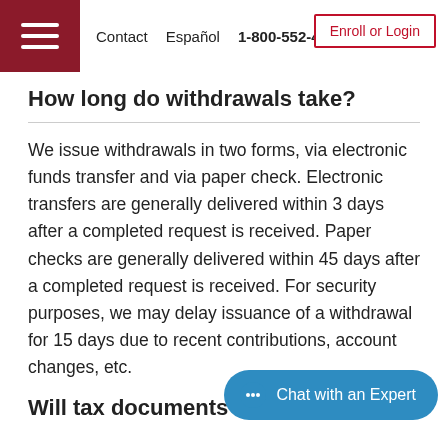Contact  Español  1-800-552-4723  Enroll or Login
How long do withdrawals take?
We issue withdrawals in two forms, via electronic funds transfer and via paper check. Electronic transfers are generally delivered within 3 days after a completed request is received. Paper checks are generally delivered within 45 days after a completed request is received. For security purposes, we may delay issuance of a withdrawal for 15 days due to recent contributions, account changes, etc.
Will tax documents be receive